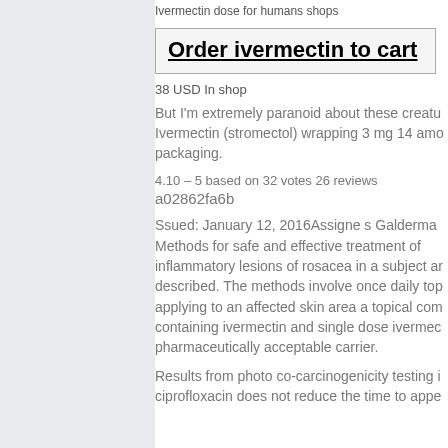Ivermectin dose for humans shops
Order ivermectin to cart
38 USD In shop
But I'm extremely paranoid about these creatures Ivermectin (stromectol) wrapping 3 mg 14 amo packaging.
4.10 – 5 based on 32 votes 26 reviews
a02862fa6b
Ssued: January 12, 2016Assigne s Galderma Methods for safe and effective treatment of inflammatory lesions of rosacea in a subject ar described. The methods involve once daily top applying to an affected skin area a topical com containing ivermectin and single dose ivermec pharmaceutically acceptable carrier.
Results from photo co-carcinogenicity testing i ciprofloxacin does not reduce the time to appe